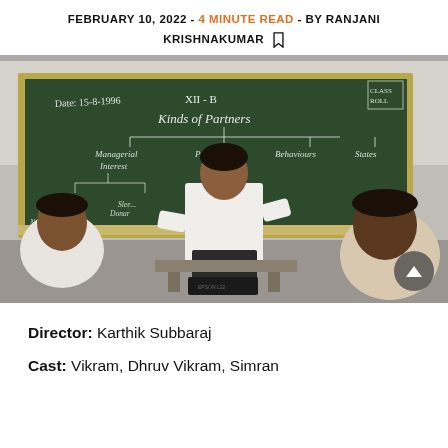FEBRUARY 10, 2022 - 4 MINUTE READ - BY RANJANI KRISHNAKUMAR
[Figure (photo): A man in a white shirt stands in front of a blackboard in a classroom. The blackboard shows 'XII-B Kinds of Partners' with a diagram. Students are seated facing the board.]
Director: Karthik Subbaraj
Cast: Vikram, Dhruv Vikram, Simran